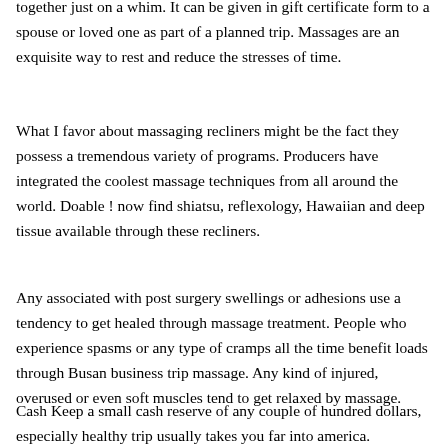together just on a whim. It can be given in gift certificate form to a spouse or loved one as part of a planned trip. Massages are an exquisite way to rest and reduce the stresses of time.
What I favor about massaging recliners might be the fact they possess a tremendous variety of programs. Producers have integrated the coolest massage techniques from all around the world. Doable ! now find shiatsu, reflexology, Hawaiian and deep tissue available through these recliners.
Any associated with post surgery swellings or adhesions use a tendency to get healed through massage treatment. People who experience spasms or any type of cramps all the time benefit loads through Busan business trip massage. Any kind of injured, overused or even soft muscles tend to get relaxed by massage.
Cash Keep a small cash reserve of any couple of hundred dollars, especially healthy trip usually takes you far into america. Then Again this reserve beyond the remaining 30 lines of travel